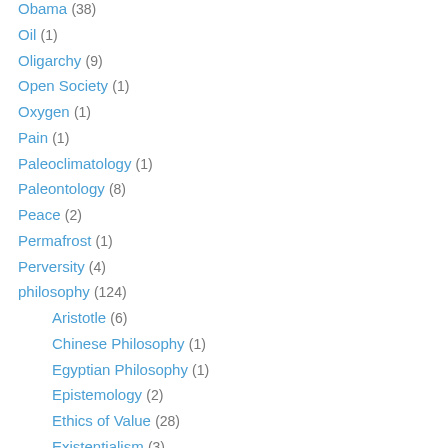Obama (38)
Oil (1)
Oligarchy (9)
Open Society (1)
Oxygen (1)
Pain (1)
Paleoclimatology (1)
Paleontology (8)
Peace (2)
Permafrost (1)
Perversity (4)
philosophy (124)
Aristotle (6)
Chinese Philosophy (1)
Egyptian Philosophy (1)
Epistemology (2)
Ethics of Value (28)
Existentialism (3)
metaphysics (1)
Philosophy of Astronomy (2)